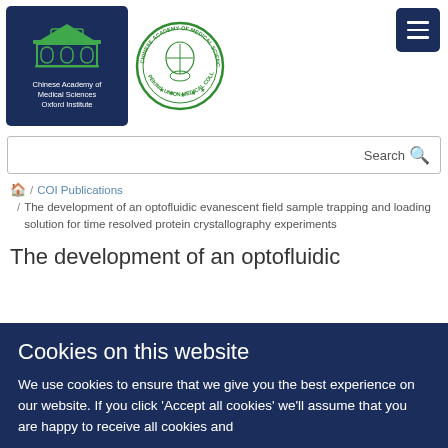[Figure (logo): Chinese Academy of Medical Sciences Oxford Institute (COI) logo — dark navy blue box with building icon and text, alongside a circular green seal of Chinese Academy of Medical Sciences Peking Union Medical College]
Search
🏠 / COI Publications
/ The development of an optofluidic evanescent field sample trapping and loading solution for time resolved protein crystallography experiments
The development of an optofluidic
Cookies on this website
We use cookies to ensure that we give you the best experience on our website. If you click 'Accept all cookies' we'll assume that you are happy to receive all cookies and